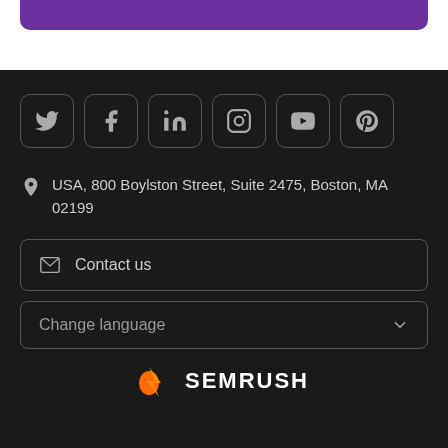[Figure (illustration): Top purple rounded bar on white background]
[Figure (illustration): Six social media icon buttons (Twitter, Facebook, LinkedIn, Instagram, YouTube, Pinterest) in rounded square outlines on dark background]
USA, 800 Boylston Street, Suite 2475, Boston, MA 02199
Contact us
Change language
[Figure (logo): Semrush logo with orange flame icon and white SEMRUSH text]